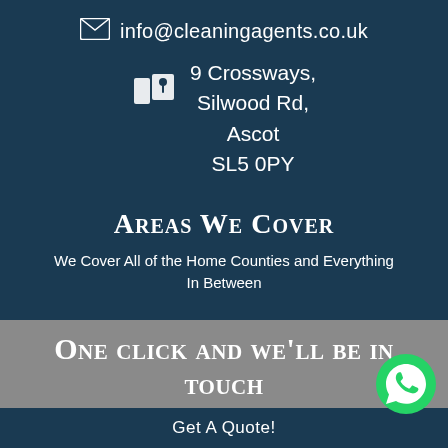info@cleaningagents.co.uk
9 Crossways, Silwood Rd, Ascot SL5 0PY
Areas We Cover
We Cover All of the Home Counties and Everything In Between
One click and we'll be in touch
Get A Quote!